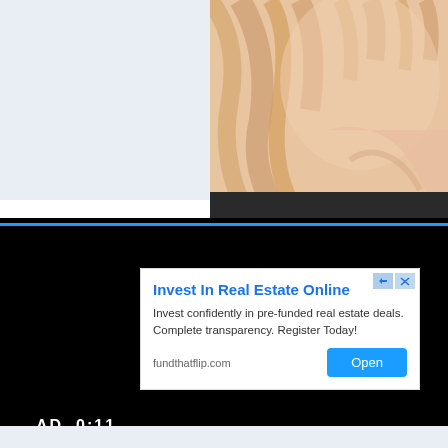[Figure (photo): Screenshot of a web page showing a video player with an advertisement overlay. Top portion shows a light blue/gray panel on the left and a close-up photo of a blonde person on the right. The video player has a black background with a white ad box overlay showing 'Invest In Real Estate Online' from fundthatflip.com. Bottom of player shows 'AD 0:11' timer and a blue progress bar.]
Invest In Real Estate Online
Invest confidently in pre-funded real estate deals. Complete transparency. Register Today!
fundthatflip.com
Open
AD  0:11